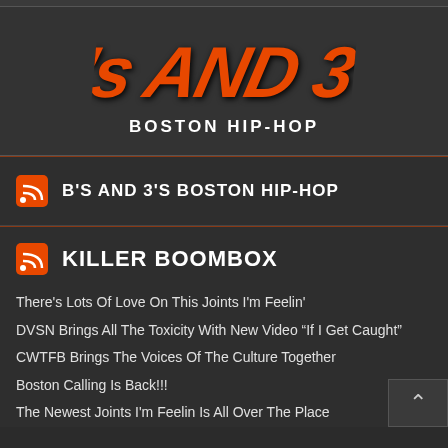[Figure (logo): B's and 3's Boston Hip-Hop graffiti style logo in orange with white subtitle text]
B'S AND 3'S BOSTON HIP-HOP
KILLER BOOMBOX
There's Lots Of Love On This Joints I'm Feelin'
DVSN Brings All The Toxicity With New Video “If I Get Caught”
CWTFB Brings The Voices Of The Culture Together
Boston Calling Is Back!!!
The Newest Joints I'm Feelin Is All Over The Place